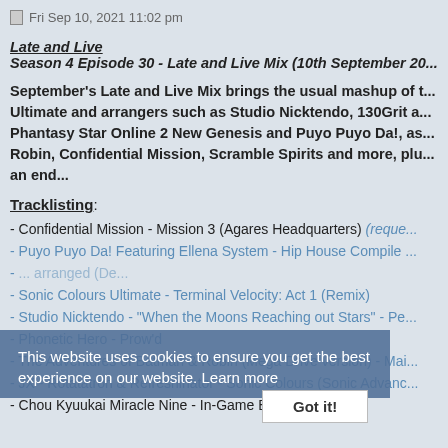Fri Sep 10, 2021 11:02 pm
Late and Live
Season 4 Episode 30 - Late and Live Mix (10th September 20...
September's Late and Live Mix brings the usual mashup of t... Ultimate and arrangers such as Studio Nicktendo, 130Grit a... Phantasy Star Online 2 New Genesis and Puyo Puyo Da!, as... Robin, Confidential Mission, Scramble Spirits and more, plu... an end...
Tracklisting:
- Confidential Mission - Mission 3 (Agares Headquarters) (reque...
- Puyo Puyo Da! Featuring Ellena System - Hip House Compile ...
- ... arranged (De...
- Sonic Colours Ultimate - Terminal Velocity: Act 1 (Remix)
- Studio Nicktendo - "When the Moons Reaching out Stars" - Pe...
- Phonetic Hero - Prow'd
- The Adventures of Batman & Robin (Mega Drive version) - Mai...
- JX - Rotatatron & Refreshinator - Sonic Colours (Sonic Advanc...
- Chou Kyuukai Miracle Nine - In-Game BGM 2 (Chance)